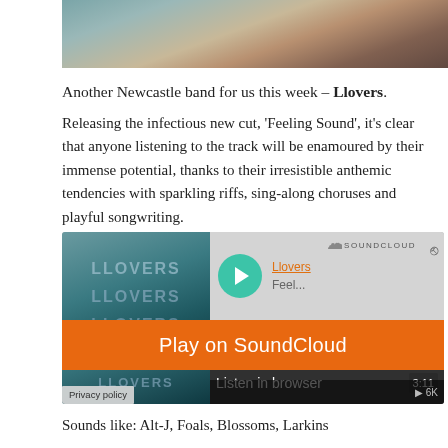[Figure (photo): Band photo of Llovers standing near water, partially visible at top of page]
Another Newcastle band for us this week – Llovers.
Releasing the infectious new cut, 'Feeling Sound', it's clear that anyone listening to the track will be enamoured by their immense potential, thanks to their irresistible anthemic tendencies with sparkling riffs, sing-along choruses and playful songwriting.
[Figure (screenshot): SoundCloud embedded player for Llovers with orange 'Play on SoundCloud' overlay button and 'Listen in browser' option. Shows track length 3:11 and 6K plays.]
Sounds like: Alt-J, Foals, Blossoms, Larkins
Twitter | Facebook | SoundCloud | Instagram
Weird Milk – Is That Love?